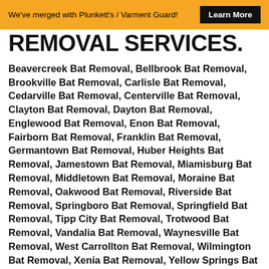We've merged with Plunkett's / Varment Guard! Learn More
REMOVAL SERVICES.
Beavercreek Bat Removal, Bellbrook Bat Removal, Brookville Bat Removal, Carlisle Bat Removal, Cedarville Bat Removal, Centerville Bat Removal, Clayton Bat Removal, Dayton Bat Removal, Englewood Bat Removal, Enon Bat Removal, Fairborn Bat Removal, Franklin Bat Removal, Germantown Bat Removal, Huber Heights Bat Removal, Jamestown Bat Removal, Miamisburg Bat Removal, Middletown Bat Removal, Moraine Bat Removal, Oakwood Bat Removal, Riverside Bat Removal, Springboro Bat Removal, Springfield Bat Removal, Tipp City Bat Removal, Trotwood Bat Removal, Vandalia Bat Removal, Waynesville Bat Removal, West Carrollton Bat Removal, Wilmington Bat Removal, Xenia Bat Removal, Yellow Springs Bat Removal